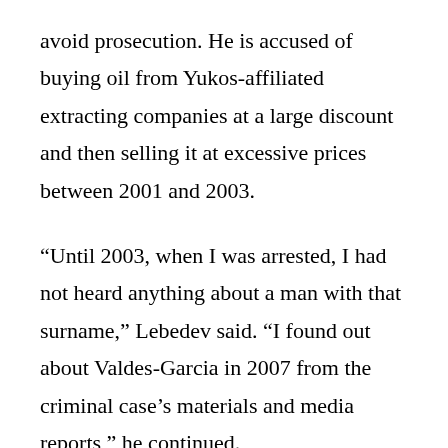avoid prosecution. He is accused of buying oil from Yukos-affiliated extracting companies at a large discount and then selling it at excessive prices between 2001 and 2003.
“Until 2003, when I was arrested, I had not heard anything about a man with that surname,” Lebedev said. “I found out about Valdes-Garcia in 2007 from the criminal case’s materials and media reports,” he continued.